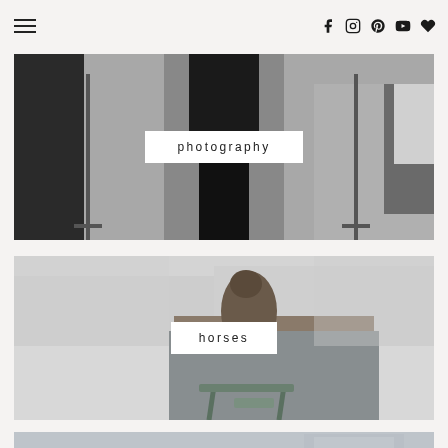Navigation header with hamburger menu and social icons (Facebook, Instagram, Pinterest, YouTube, Heart/Bloglovin)
[Figure (photo): Black and white photo of a person in black outfit standing in a photography studio with light stands and black reflectors/backdrops]
photography
[Figure (photo): Photo of a horse wearing a grey blanket/rug, standing outdoors with bare winter trees in the blurred background]
horses
[Figure (photo): Partial view of a third photo at the bottom showing outdoor winter scenery with trees and a building in the background]